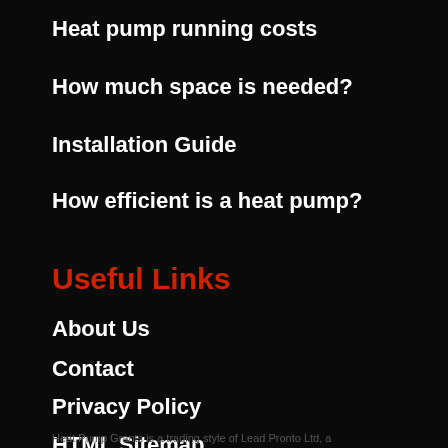Heat pump running costs
How much space is needed?
Installation Guide
How efficient is a heat pump?
Useful Links
About Us
Contact
Privacy Policy
HTML Sitemap
Heat Pump Grants is a trading style of Lead Pronto Ltd, a